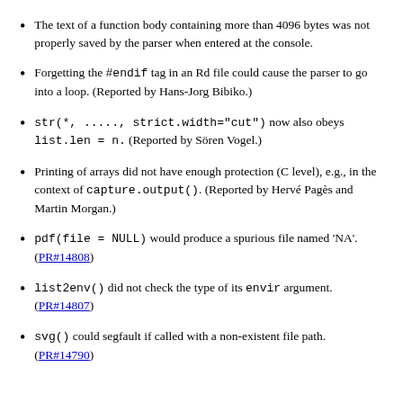The text of a function body containing more than 4096 bytes was not properly saved by the parser when entered at the console.
Forgetting the #endif tag in an Rd file could cause the parser to go into a loop. (Reported by Hans-Jorg Bibiko.)
str(*, ....., strict.width="cut") now also obeys list.len = n. (Reported by Sören Vogel.)
Printing of arrays did not have enough protection (C level), e.g., in the context of capture.output(). (Reported by Hervé Pagès and Martin Morgan.)
pdf(file = NULL) would produce a spurious file named 'NA'. (PR#14808)
list2env() did not check the type of its envir argument. (PR#14807)
svg() could segfault if called with a non-existent file path. (PR#14790)